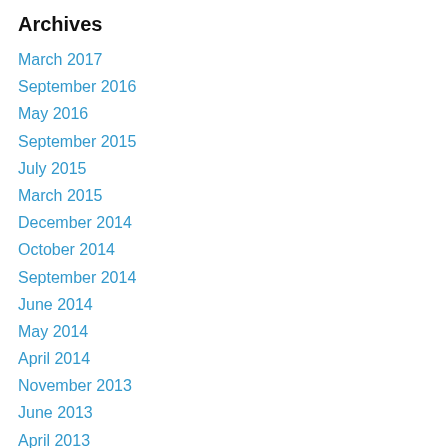Archives
March 2017
September 2016
May 2016
September 2015
July 2015
March 2015
December 2014
October 2014
September 2014
June 2014
May 2014
April 2014
November 2013
June 2013
April 2013
January 2013
November 2012
September 2012